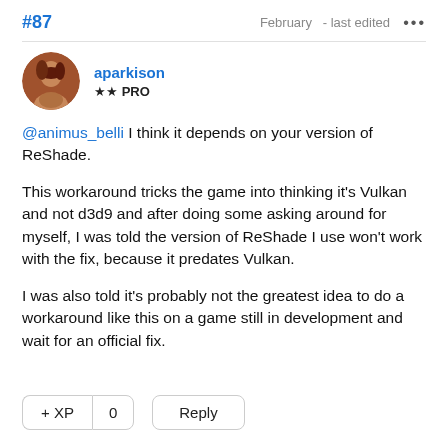#87   February - last edited ...
aparkison ★★ PRO
@animus_belli I think it depends on your version of ReShade.

This workaround tricks the game into thinking it's Vulkan and not d3d9 and after doing some asking around for myself, I was told the version of ReShade I use won't work with the fix, because it predates Vulkan.

I was also told it's probably not the greatest idea to do a workaround like this on a game still in development and wait for an official fix.
+ XP  0   Reply